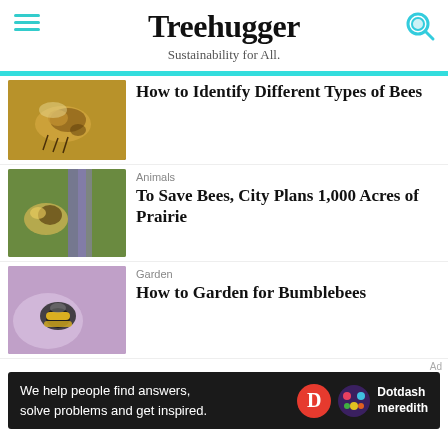Treehugger — Sustainability for All.
[Figure (photo): Close-up photo of a honeybee on a surface]
How to Identify Different Types of Bees
[Figure (photo): Bee on purple lavender flower]
Animals
To Save Bees, City Plans 1,000 Acres of Prairie
[Figure (photo): Bumblebee on purple flower]
Garden
How to Garden for Bumblebees
Ad
We help people find answers, solve problems and get inspired.  Dotdash meredith